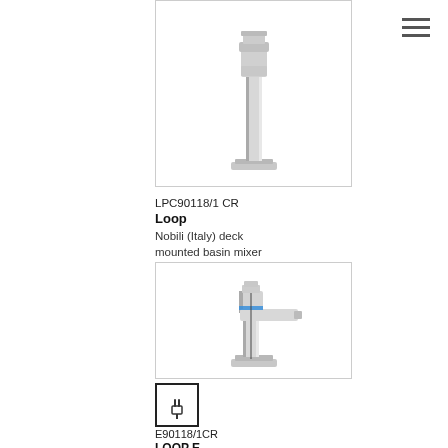[Figure (photo): Chrome basin mixer faucet (Loop) shown from front, tall square design with chrome finish]
LPC90118/1 CR
Loop
Nobili (Italy) deck mounted basin mixer
[Figure (photo): Chrome basin mixer faucet (Loop E) shown from front, lower profile square design with blue ring detail and chrome finish, watermark overlay]
[Figure (illustration): Plug/electric icon in a square border]
E90118/1CR
LOOP E
L116 x W50 x H179mm